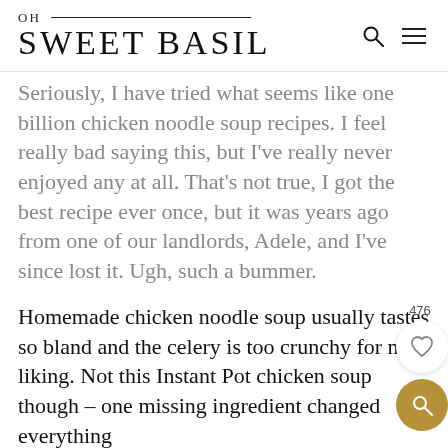OH SWEET BASIL
Seriously, I have tried what seems like one billion chicken noodle soup recipes. I feel really bad saying this, but I’ve really never enjoyed any at all. That’s not true, I got the best recipe ever once, but it was years ago from one of our landlords, Adele, and I’ve since lost it. Ugh, such a bummer.
Homemade chicken noodle soup usually tastes so bland and the celery is too crunchy for my liking. Not this Instant Pot chicken soup though – one missing ingredient changed everything
I was out of onion. I don’t know how it happened, but I was. Who doesn’t have an onion on hand??